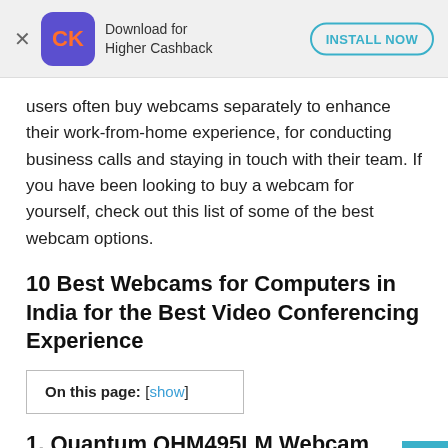Download for Higher Cashback | INSTALL NOW
users often buy webcams separately to enhance their work-from-home experience, for conducting business calls and staying in touch with their team. If you have been looking to buy a webcam for yourself, check out this list of some of the best webcam options.
10 Best Webcams for Computers in India for the Best Video Conferencing Experience
On this page: [show]
1. Quantum QHM495LM Webcam – Best